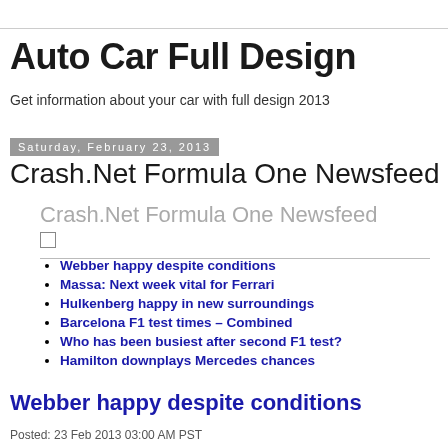Auto Car Full Design
Get information about your car with full design 2013
Saturday, February 23, 2013
Crash.Net Formula One Newsfeed
Crash.Net Formula One Newsfeed
Webber happy despite conditions
Massa: Next week vital for Ferrari
Hulkenberg happy in new surroundings
Barcelona F1 test times – Combined
Who has been busiest after second F1 test?
Hamilton downplays Mercedes chances
Webber happy despite conditions
Posted: 23 Feb 2013 03:00 AM PST